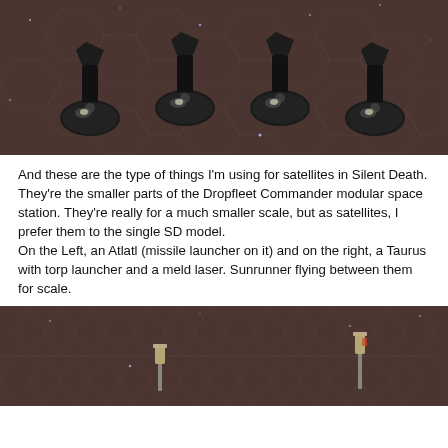[Figure (photo): Photo of multiple dark metallic satellite miniatures with dome-shaped bases and hexagonal connectors, placed on a brown hexagonal grid game board with star/space motif.]
And these are the type of things I'm using for satellites in Silent Death. They're the smaller parts of the Dropfleet Commander modular space station. They're really for a much smaller scale, but as satellites, I prefer them to the single SD model.
On the Left, an Atlatl (missile launcher on it) and on the right, a Taurus with torp launcher and a meld laser. Sunrunner flying between them for scale.
[Figure (photo): Photo of small miniature figurines (Atlatl and Taurus ships with a Sunrunner) placed on a brown hexagonal grid game board with star/space motif.]